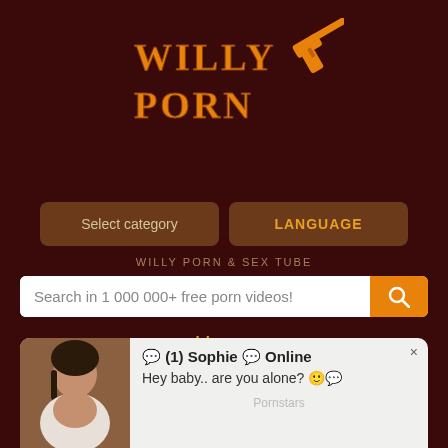[Figure (logo): WillyPorn logo with western-style text and gun graphic in orange on dark red background]
Select category
LANGUAGE
WILLY PORN & SEX TUBE
Search in 1 000 000+ free porn videos!
Home
Latest
[Figure (photo): Chat popup with female photo on left, text on right: (1) Sophie Online - Hey baby.. are you alone?]